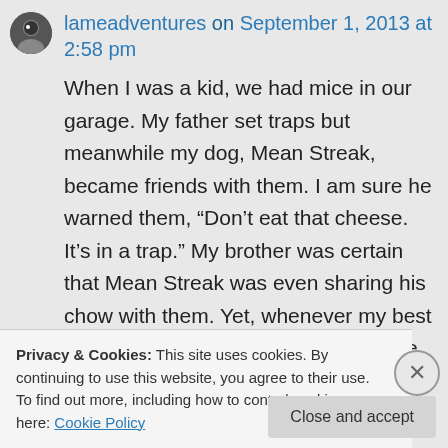lameadventures on September 1, 2013 at 2:58 pm
When I was a kid, we had mice in our garage. My father set traps but meanwhile my dog, Mean Streak, became friends with them. I am sure he warned them, “Don’t eat that cheese. It’s in a trap.” My brother was certain that Mean Streak was even sharing his chow with them. Yet, whenever my best friend visited, our dog would try to bite off her ankle. Animals can be so not he he
Privacy & Cookies: This site uses cookies. By continuing to use this website, you agree to their use.
To find out more, including how to control cookies, see here: Cookie Policy
Close and accept